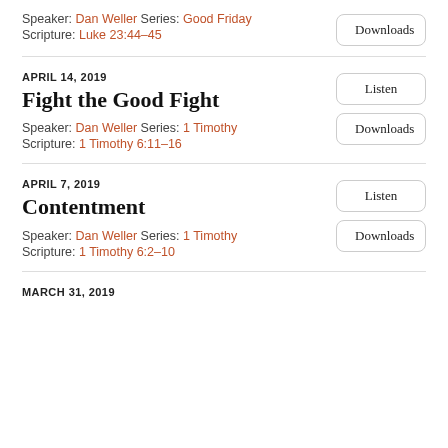Speaker: Dan Weller Series: Good Friday
Scripture: Luke 23:44–45
Downloads
APRIL 14, 2019
Fight the Good Fight
Speaker: Dan Weller Series: 1 Timothy
Scripture: 1 Timothy 6:11–16
Listen
Downloads
APRIL 7, 2019
Contentment
Speaker: Dan Weller Series: 1 Timothy
Scripture: 1 Timothy 6:2–10
Listen
Downloads
MARCH 31, 2019